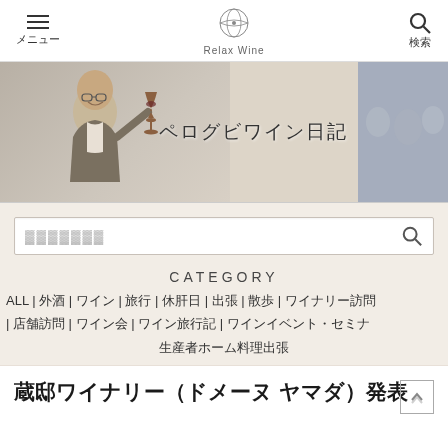メニュー | Relax Wine | 検索
[Figure (photo): Banner image showing a bald man in glasses holding a wine glass, smiling, with Japanese text ペログビワイン日記 and a background photo of people at a winery.]
ペログビワイン日記
（検索プレースホルダー）
CATEGORY
ALL | 外酒 | ワイン | 旅行 | 休肝日 | 出張 | 散歩 | ワイナリー訪問
| 店舗訪問 | ワイン会 | ワイン旅行記 | ワインイベント・セミナ
生産者ホーム料理出張
蔵邸ワイナリー（ドメーヌ ヤマダ）発表